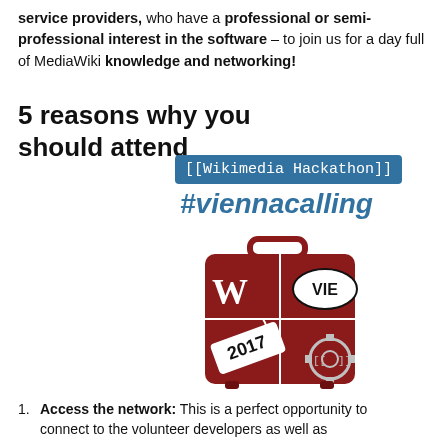service providers, who have a professional or semi-professional interest in the software – to join us for a day full of MediaWiki knowledge and networking!
5 reasons why you should attend
[Figure (illustration): Blue badge with text [[Wikimedia Hackathon]] in monospace font, followed by #viennacalling in italic blue text, and a red suitcase/luggage logo with Wikipedia W, VIE label, 2017 tag, and gear icons representing the Wikimedia Hackathon Vienna 2017]
Access the network: This is a perfect opportunity to connect to the volunteer developers as well as